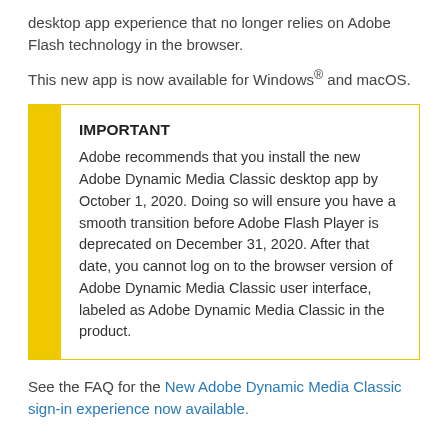desktop app experience that no longer relies on Adobe Flash technology in the browser.
This new app is now available for Windows® and macOS.
IMPORTANT
Adobe recommends that you install the new Adobe Dynamic Media Classic desktop app by October 1, 2020. Doing so will ensure you have a smooth transition before Adobe Flash Player is deprecated on December 31, 2020. After that date, you cannot log on to the browser version of Adobe Dynamic Media Classic user interface, labeled as Adobe Dynamic Media Classic in the product.
See the FAQ for the New Adobe Dynamic Media Classic sign-in experience now available.